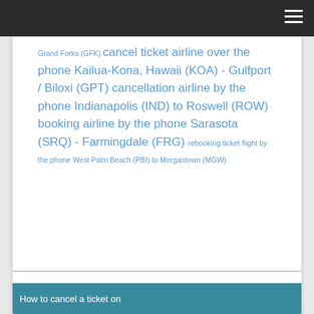Grand Forks (GFK) cancel ticket airline over the phone Kailua-Kona, Hawaii (KOA) - Gulfport / Biloxi (GPT) cancellation airline by the phone Indianapolis (IND) to Roswell (ROW) booking airline by the phone Sarasota (SRQ) - Farmingdale (FRG) rebooking ticket flight by the phone West Palm Beach (PBI) to Morgantown (MGW)
How to cancel a ticket on